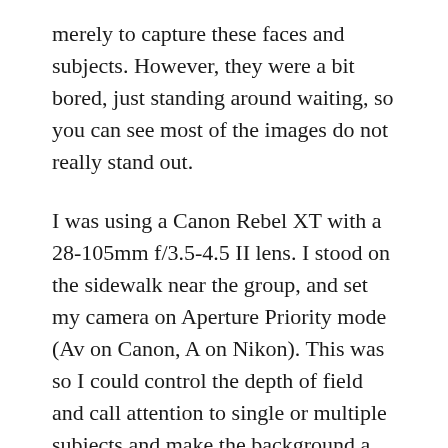merely to capture these faces and subjects. However, they were a bit bored, just standing around waiting, so you can see most of the images do not really stand out.
I was using a Canon Rebel XT with a 28-105mm f/3.5-4.5 II lens. I stood on the sidewalk near the group, and set my camera on Aperture Priority mode (Av on Canon, A on Nikon). This was so I could control the depth of field and call attention to single or multiple subjects and make the background a bit blurry and less distracting. I experimented with various aperture settings, ranging from f/4.5 to f/13 depending on if I wanted one of the men to be in focus or a row of two or three of them to be